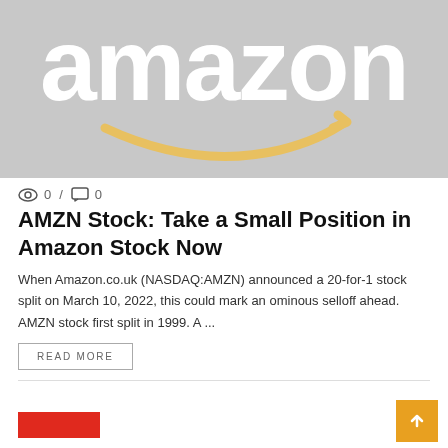[Figure (logo): Amazon logo on grey background - large white 'amazon' text with yellow smile/arrow graphic]
0 / 0
AMZN Stock: Take a Small Position in Amazon Stock Now
When Amazon.co.uk (NASDAQ:AMZN) announced a 20-for-1 stock split on March 10, 2022, this could mark an ominous selloff ahead. AMZN stock first split in 1999. A ...
READ MORE